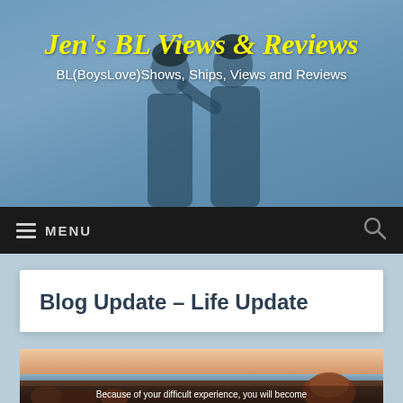[Figure (photo): Header banner with two young Asian men close together, blue-gray sky background]
Jen's BL Views & Reviews
BL(BoysLove)Shows, Ships, Views and Reviews
MENU
Blog Update – Life Update
[Figure (photo): Sunset landscape with rocks by the sea and caption text: Because of your difficult experience, you will become]